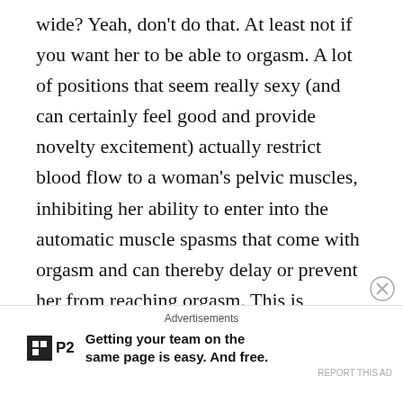wide? Yeah, don't do that. At least not if you want her to be able to orgasm. A lot of positions that seem really sexy (and can certainly feel good and provide novelty excitement) actually restrict blood flow to a woman's pelvic muscles, inhibiting her ability to enter into the automatic muscle spasms that come with orgasm and can thereby delay or prevent her from reaching orgasm. This is another reason why many positions for intercourse are not ideal for female orgasm. As a rule of thumb, her legs should be about 6-9 inches apart when you're trying to bring her to climax. Having her lie flat on her back with a pillow under her lower back is really ideal for the relaxation and blood flow needed for orgasm. Other exciting positions including 69ing,
Advertisements
Getting your team on the same page is easy. And free.